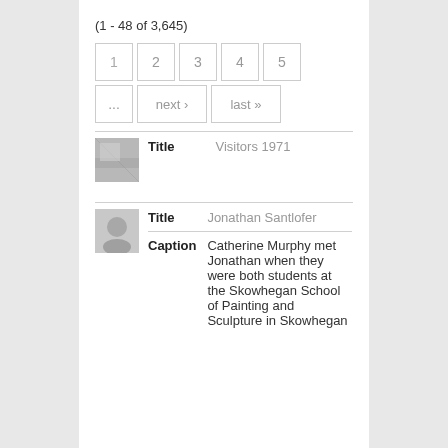(1 - 48 of 3,645)
[Figure (other): Pagination navigation with page numbers 1, 2, 3, 4, 5, ellipsis, next, last buttons]
[Figure (photo): Small black and white thumbnail photo - first result item]
| Title | Visitors 1971 |
[Figure (photo): Small black and white thumbnail photo - second result item, person]
| Title | Jonathan Santlofer |
| Caption | Catherine Murphy met Jonathan when they were both students at the Skowhegan School of Painting and Sculpture in Skowhegan |